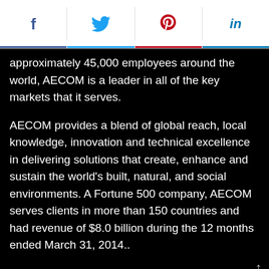[Figure (other): Social media share buttons bar: Facebook (f), Twitter (bird icon), Pinterest (p), LinkedIn (in)]
approximately 45,000 employees around the world, AECOM is a leader in all of the key markets that it serves.
AECOM provides a blend of global reach, local knowledge, innovation and technical excellence in delivering solutions that create, enhance and sustain the world's built, natural, and social environments. A Fortune 500 company, AECOM serves clients in more than 150 countries and had revenue of $8.0 billion during the 12 months ended March 31, 2014..